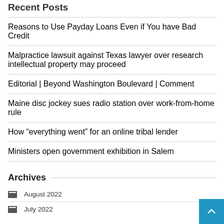Recent Posts
Reasons to Use Payday Loans Even if You have Bad Credit
Malpractice lawsuit against Texas lawyer over research intellectual property may proceed
Editorial | Beyond Washington Boulevard | Comment
Maine disc jockey sues radio station over work-from-home rule
How “everything went” for an online tribal lender
Ministers open government exhibition in Salem
Archives
August 2022
July 2022